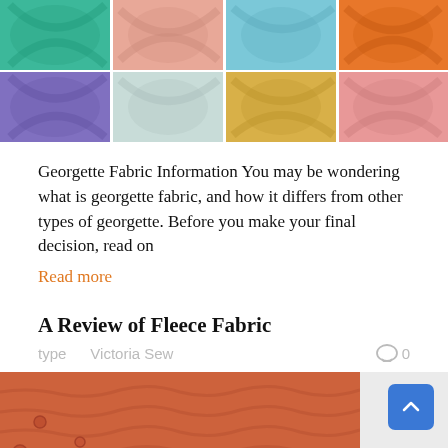[Figure (photo): Grid of 8 fabric swatches in various colors: teal/green, peach/salmon, light blue, orange; purple/lavender, light gray/mint, golden yellow, pink/rose]
Georgette Fabric Information You may be wondering what is georgette fabric, and how it differs from other types of georgette. Before you make your final decision, read on
Read more
A Review of Fleece Fabric
type   Victoria Sew   ◯ 0
[Figure (photo): Close-up photo of orange/coral fleece fabric showing texture]